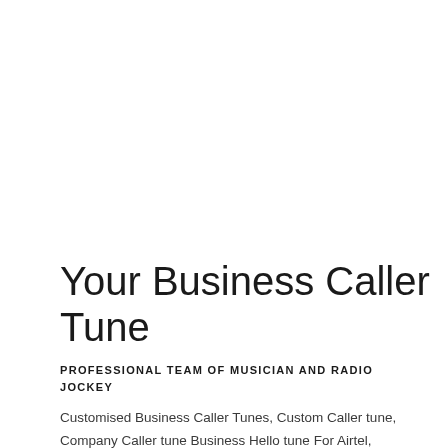Your Business Caller Tune
PROFESSIONAL TEAM OF MUSICIAN AND RADIO JOCKEY
Customised Business Caller Tunes, Custom Caller tune, Company Caller tune Business Hello tune For Airtel, Vodafone, Idea, Jio Network and others Caller tunes, Dialer tunes, in all over INDIA.